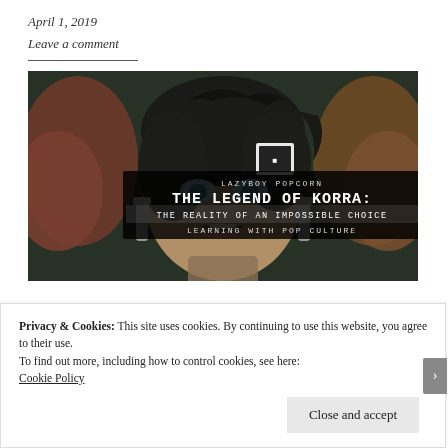April 1, 2019
Leave a comment
[Figure (illustration): Thumbnail image for 'The Legend of Korra: The Reality of an Impossible Choice – Learning with Pop Culture' by Lazyboy Popcorn. Shows animated character Korra in close-up with dark background.]
Privacy & Cookies: This site uses cookies. By continuing to use this website, you agree to their use.
To find out more, including how to control cookies, see here:
Cookie Policy
Close and accept